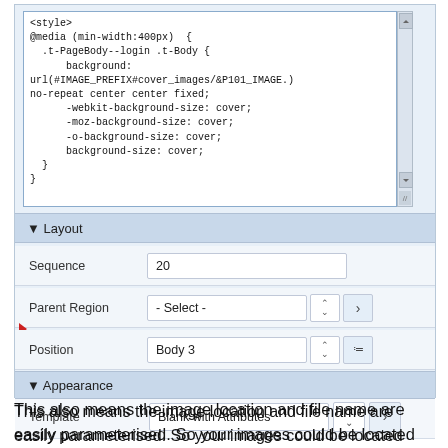[Figure (screenshot): A UI panel showing a code editor box with CSS code, and form fields for Layout (Sequence: 20, Parent Region: - Select -, Position: Body 3) and Appearance (Template: Blank with Attributes, Style within Region) sections.]
This also means the image location and file name are easily parameterised. So your images could be located anywhere, and you could programmatically decide which image to